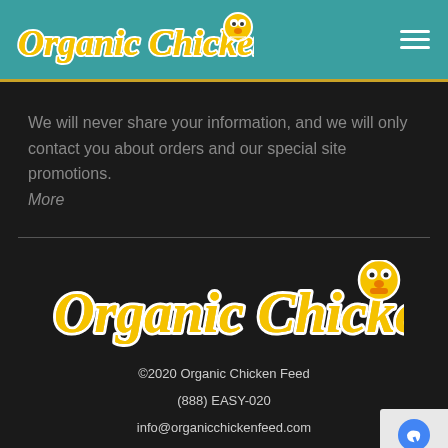Organic Chicken Feed
We will never share your information, and we will only contact you about orders and our special site promotions. More
[Figure (logo): Organic Chicken Feed logo in yellow script with chicken mascot, large footer version]
©2020 Organic Chicken Feed
(888) EASY-020
info@organicchickenfeed.com
6009 W Parker Rd # 149, Plano TX 75093